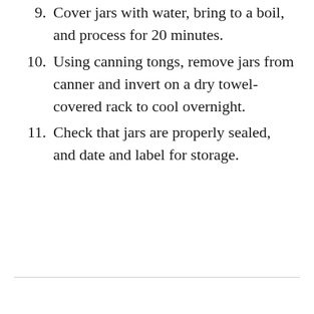9. Cover jars with water, bring to a boil, and process for 20 minutes.
10. Using canning tongs, remove jars from canner and invert on a dry towel-covered rack to cool overnight.
11. Check that jars are properly sealed, and date and label for storage.